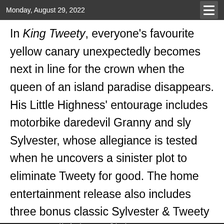Monday, August 29, 2022
In King Tweety, everyone's favourite yellow canary unexpectedly becomes next in line for the crown when the queen of an island paradise disappears. His Little Highness' entourage includes motorbike daredevil Granny and sly Sylvester, whose allegiance is tested when he uncovers a sinister plot to eliminate Tweety for good. The home entertainment release also includes three bonus classic Sylvester & Tweety
[Figure (infographic): Redington advertisement banner for Autodesk event: Making for The Future: Defining the New Possible for VFX, Animation, Gaming & Creative Technology]
Copyright © 2022 AnimationXpress  AnimationXpress| All rights reserved.